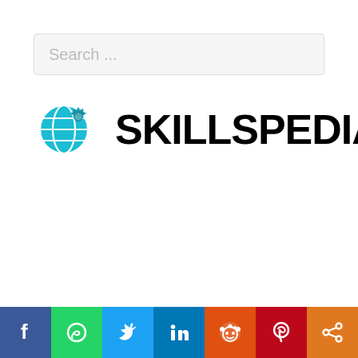[Figure (screenshot): Search bar with placeholder text 'Search ...']
[Figure (logo): Skillspedia.in logo with globe and gear icon in teal, bold black text SKILLSPEDIA with red dot and .IN suffix]
[Figure (infographic): Social media share bar at bottom with Facebook, WhatsApp, Twitter, LinkedIn, Reddit, Pinterest, and Share icons]